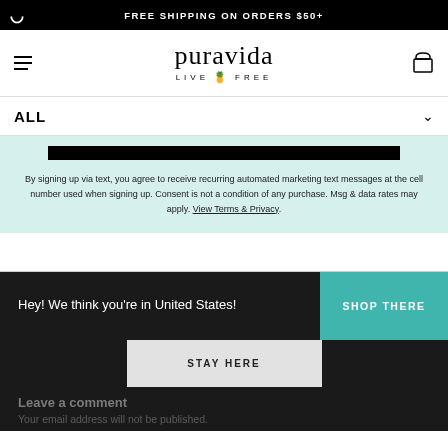FREE SHIPPING ON ORDERS $50+
[Figure (logo): Pura Vida logo with text 'puravida' and tagline 'LIVE FREE' with pineapple icon]
ALL
By signing up via text, you agree to receive recurring automated marketing text messages at the cell number used when signing up. Consent is not a condition of any purchase. Msg & data rates may apply. View Terms & Privacy.
Hey! We think you're in United States!
SHOP THERE
STAY HERE
Leave a comment
Your email address will not be published.